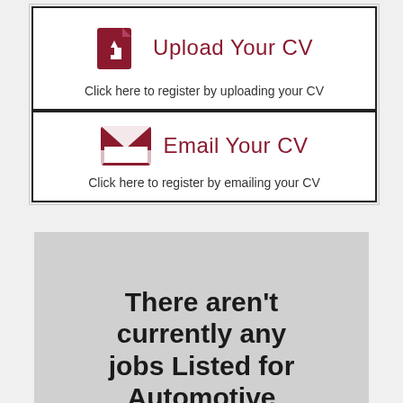[Figure (infographic): Upload Your CV button card with upload icon and text: Click here to register by uploading your CV]
Click here to register by uploading your CV
[Figure (infographic): Email Your CV button card with envelope icon and text: Click here to register by emailing your CV]
Click here to register by emailing your CV
There aren't currently any jobs Listed for Automotive Trades in Las